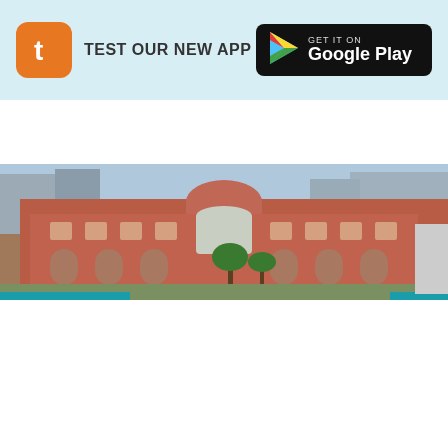[Figure (screenshot): Top banner with Tropter app icon (orange rounded square with white 't'), text 'TEST OUR NEW APP', and Google Play badge on light blue background]
tropter
[Figure (photo): Aerial photograph of a large red-brick museum building (Egyptian Museum in Cairo) with domed roof, arched windows, and surrounding urban cityscape]
Tropter.com uses cookies for functional purposes. By using this site you agree to the use of cookies More information.
OK